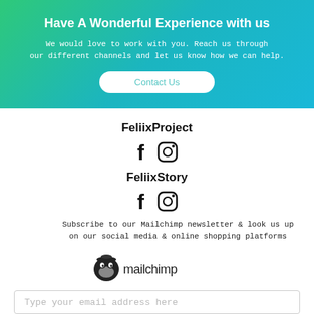Have A Wonderful Experience with us
We would love to work with you. Reach us through our different channels and let us know how we can help.
Contact Us
FeliixProject
[Figure (illustration): Facebook and Instagram social media icons for FeliixProject]
FeliixStory
[Figure (illustration): Facebook and Instagram social media icons for FeliixStory]
Subscribe to our Mailchimp newsletter & look us up on our social media & online shopping platforms
[Figure (logo): Mailchimp logo with chimp icon and mailchimp wordmark]
Type your email address here